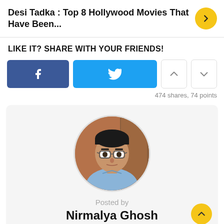Desi Tadka : Top 8 Hollywood Movies That Have Been...
LIKE IT? SHARE WITH YOUR FRIENDS!
[Figure (screenshot): Social share buttons: Facebook (blue), Twitter (cyan), and two vote arrow buttons (up/down)]
474 shares, 74 points
[Figure (photo): Circular profile photo of a man wearing glasses and a light blue shirt]
Posted by
Nirmalya Ghosh